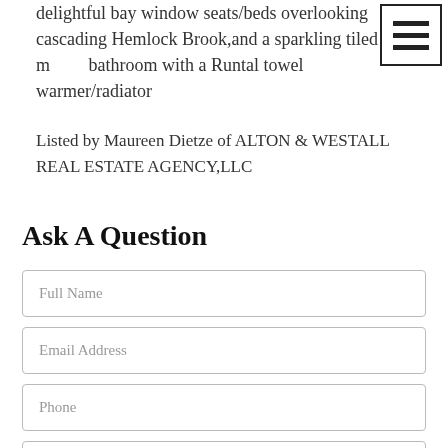delightful bay window seats/beds overlooking cascading Hemlock Brook,and a sparkling tiled master bathroom with a Runtal towel warmer/radiator
Listed by Maureen Dietze of ALTON & WESTALL REAL ESTATE AGENCY,LLC
Ask A Question
Full Name
Email Address
Phone
I would like to know more about 1191 Main Williamstown MA 01267